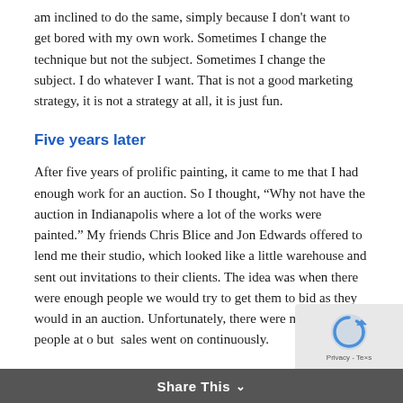am inclined to do the same, simply because I don't want to get bored with my own work. Sometimes I change the technique but not the subject. Sometimes I change the subject. I do whatever I want. That is not a good marketing strategy, it is not a strategy at all, it is just fun.
Five years later
After five years of prolific painting, it came to me that I had enough work for an auction. So I thought, “Why not have the auction in Indianapolis where a lot of the works were painted.” My friends Chris Blice and Jon Edwards offered to lend me their studio, which looked like a little warehouse and sent out invitations to their clients. The idea was when there were enough people we would try to get them to bid as they would in an auction. Unfortunately, there were never enough people at o but  sales went on continuously.